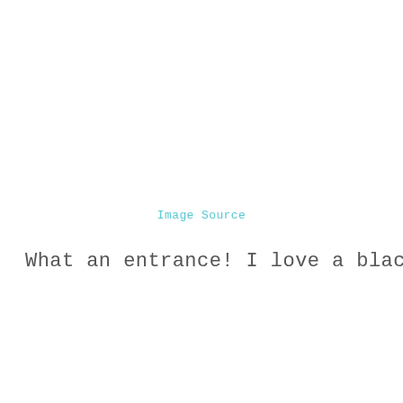Image Source
What an entrance!  I love a black front door.